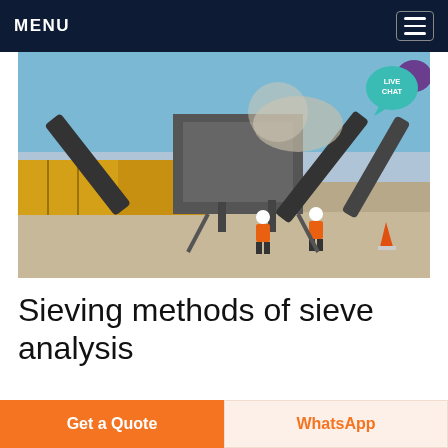MENU
[Figure (photo): Industrial mining/crushing plant with conveyor belts, large machinery, yellow shipping containers, and two workers in orange hi-vis vests and white hard hats in the foreground on a gravel site under a blue sky.]
Sieving methods of sieve analysis
During sieving the sample is subjected to vertical
Get a Quote
WhatsApp